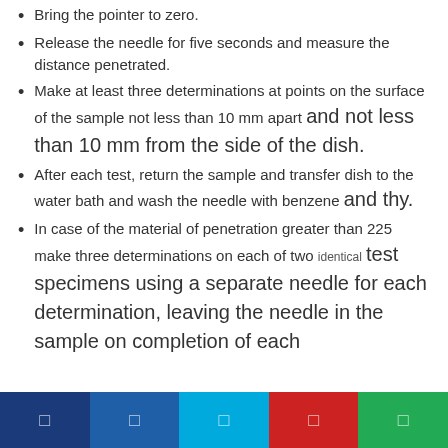Bring the pointer to zero.
Release the needle for five seconds and measure the distance penetrated.
Make at least three determinations at points on the surface of the sample not less than 10 mm apart and not less than 10 mm from the side of the dish.
After each test, return the sample and transfer dish to the water bath and wash the needle with benzene and thy.
In case of the material of penetration greater than 225 make three determinations on each of two identical test specimens using a separate needle for each determination, leaving the needle in the sample on completion of each
navigation bar icons